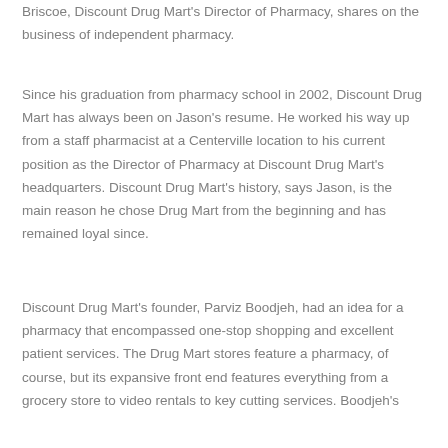Briscoe, Discount Drug Mart's Director of Pharmacy, shares on the business of independent pharmacy.
Since his graduation from pharmacy school in 2002, Discount Drug Mart has always been on Jason's resume. He worked his way up from a staff pharmacist at a Centerville location to his current position as the Director of Pharmacy at Discount Drug Mart's headquarters. Discount Drug Mart's history, says Jason, is the main reason he chose Drug Mart from the beginning and has remained loyal since.
Discount Drug Mart's founder, Parviz Boodjeh, had an idea for a pharmacy that encompassed one-stop shopping and excellent patient services. The Drug Mart stores feature a pharmacy, of course, but its expansive front end features everything from a grocery store to video rentals to key cutting services. Boodjeh's